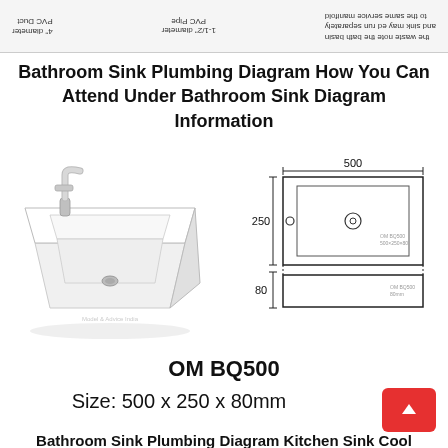The waste note the bath basin and sink may be run separately to the same service manifold | 1-1/2" diameter PVC Pipe | 4" diameter PVC Duct
Bathroom Sink Plumbing Diagram How You Can Attend Under Bathroom Sink Diagram Information
[Figure (photo): Photo of a white rectangular ceramic countertop bathroom sink (vessel basin) with a chrome single-handle faucet on the left side, viewed from a front-angled perspective.]
[Figure (engineering-diagram): Technical schematic of the OM BQ500 sink showing top view and side profile with dimensions: 500mm width, 250mm depth, 80mm height. Shows faucet hole on left side and drain hole in center of basin top view.]
OM BQ500
Size: 500 x 250 x 80mm
Bathroom Sink Plumbing Diagram Kitchen Sink Cool